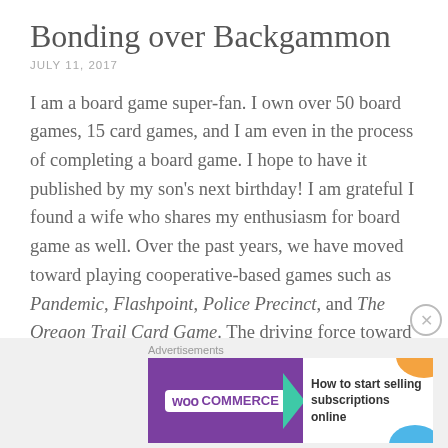Bonding over Backgammon
JULY 11, 2017
I am a board game super-fan. I own over 50 board games, 15 card games, and I am even in the process of completing a board game. I hope to have it published by my son’s next birthday! I am grateful I found a wife who shares my enthusiasm for board game as well. Over the past years, we have moved toward playing cooperative-based games such as Pandemic, Flashpoint, Police Precinct, and The Oregon Trail Card Game. The driving force toward this shift away from competitive play is that
[Figure (screenshot): WooCommerce advertisement banner: purple background with WooCommerce logo and text 'How to start selling subscriptions online']